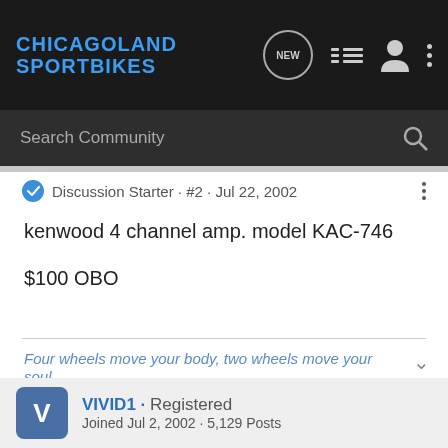CHICAGOLAND SPORTBIKES
Search Community
Discussion Starter · #2 · Jul 22, 2002
kenwood 4 channel amp. model KAC-746

$100 OBO
Four wheels move your body, two wheels move your soul
VIVID1 · Registered
Joined Jul 2, 2002 · 5,129 Posts